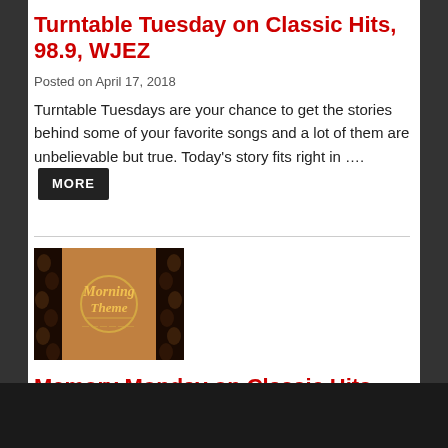Turntable Tuesday on Classic Hits, 98.9, WJEZ
Posted on April 17, 2018
Turntable Tuesdays are your chance to get the stories behind some of your favorite songs and a lot of them are unbelievable but true. Today's story fits right in …. MORE
[Figure (photo): Morning Theme promotional image with coffee beans and golden text on brown background]
Memory Monday on Classic Hits, 98.9, WJEZ
Posted on April 16, 2018
Today's featured song got so much airplay in its day, there's no